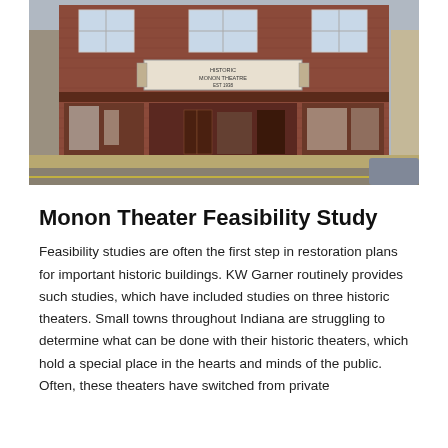[Figure (photo): Exterior photograph of the Historic Monon Theatre, a brick building with a marquee sign reading 'HISTORIC MONON THEATRE EST 1938', featuring large display windows and entrance doors on the ground floor.]
Monon Theater Feasibility Study
Feasibility studies are often the first step in restoration plans for important historic buildings. KW Garner routinely provides such studies, which have included studies on three historic theaters. Small towns throughout Indiana are struggling to determine what can be done with their historic theaters, which hold a special place in the hearts and minds of the public. Often, these theaters have switched from private